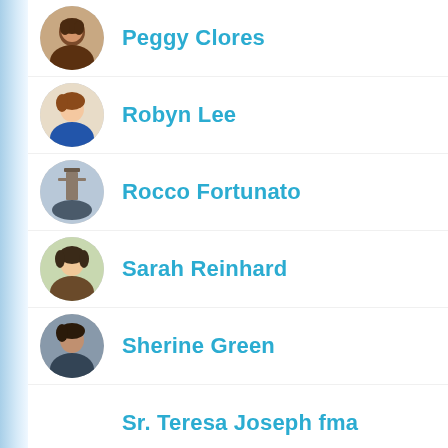Peggy Clores
Robyn Lee
Rocco Fortunato
Sarah Reinhard
Sherine Green
Sr. Teresa Joseph fma
Steve McVey